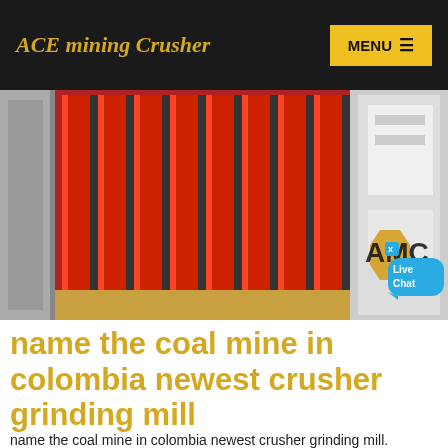ACE mining Crusher
[Figure (photo): Close-up photo of a red industrial mining crusher/screening machine with vertical red metal bars/tines, with AMC logo and Live Chat bubble visible in the lower right corner]
name the coal mine in colombia newest crusher grinding mill
name the coal mine in colombia newest crusher grinding mill. Colombia extends Drummond contract on coal mine for 20 Jan 25 2019· Colombia extends Drummond contract on coal mine for 20 years The contract at the mine located